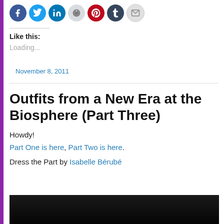[Figure (other): Row of social sharing icons: Facebook (blue), Twitter (light blue), LinkedIn (blue), Reddit (light gray), Pinterest (red), Tumblr (dark navy), Email (gray)]
Like this:
Loading...
November 8, 2011
Outfits from a New Era at the Biosphere (Part Three)
Howdy!
Part One is here, Part Two is here.
Dress the Part by Isabelle Bérubé
[Figure (photo): Black and white photograph, partially visible at bottom of page]